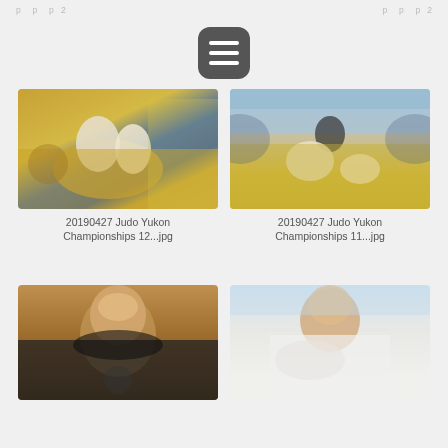[Figure (illustration): Hamburger menu button icon, dark rounded square with three white horizontal bars]
[Figure (photo): Two young judo competitors grappling on a yellow mat, wearing white judogi, with spectators in background]
20190427 Judo Yukon Championships 12...jpg
[Figure (photo): Two judo competitors on a yellow mat, one pinning the other, with spectators and a coach in background]
20190427 Judo Yukon Championships 11...jpg
[Figure (photo): A man in a black judogi, partially visible portrait, appearing to be an instructor or coach]
[Figure (photo): A young person in white judogi, close-up action shot]